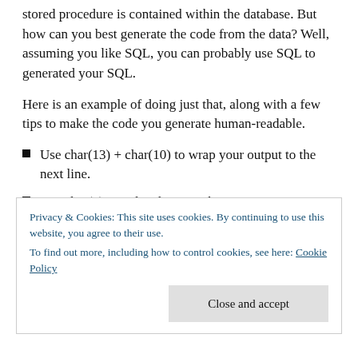stored procedure is contained within the database.  But how can you best generate the code from the data?  Well, assuming you like SQL, you can probably use SQL to generated your SQL.
Here is an example of doing just that, along with a few tips to make the code you generate human-readable.
Use char(13) + char(10) to wrap your output to the next line.
Use char(9) to indent by one tab.
Create one line of output for each line of your code-
Privacy & Cookies: This site uses cookies. By continuing to use this website, you agree to their use.
To find out more, including how to control cookies, see here: Cookie Policy